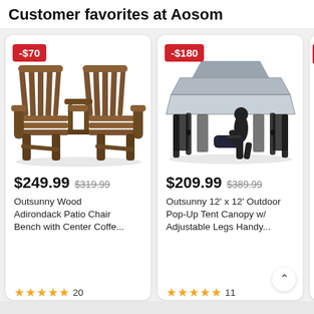Customer favorites at Aosom
[Figure (photo): Outsunny Wood Adirondack double patio chair bench with center coffee table, dark brown wood, product photo on white background]
-$70
$249.99  $319.99
Outsunny Wood Adirondack Patio Chair Bench with Center Coffe...
★★★★★ 20
[Figure (photo): Outsunny 12x12 outdoor pop-up tent canopy with adjustable legs, grey roof, dark curtains, silhouette of person holding carrying bag, product photo on white background]
-$180
$209.99  $389.99
Outsunny 12' x 12' Outdoor Pop-Up Tent Canopy w/ Adjustable Legs Handy...
★★★★★ 11